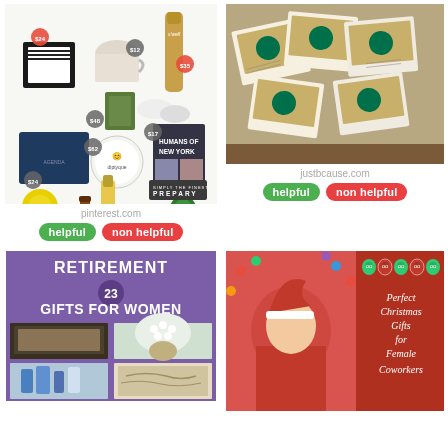[Figure (photo): Gift guide collage showing various items with price tags on white background — frames, notebooks, candles, champagne bottle, books, water bottle. Source: pinterest.com]
pinterest.com
[Figure (other): Two buttons: 'helpful' (green) and 'non helpful' (red/coral)]
[Figure (photo): Photo of Starbucks gift cards with handwritten notes laid on a table. Source: justbcause.com]
justbcause.com
[Figure (other): Two buttons: 'helpful' (green) and 'non helpful' (red/coral)]
[Figure (infographic): Purple poster reading 'RETIREMENT 23 GIFTS FOR WOMEN' with a grid of gift photos below.]
[Figure (photo): Photo of girl in Santa hat with Christmas lights, alongside red panel reading 'Perfect Christmas Gifts for Female Coworkers' with owl icons.]